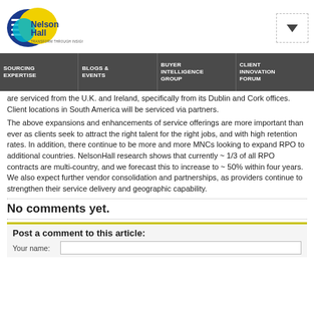[Figure (logo): NelsonHall logo with blue and yellow circular design and text 'NelsonHall TRANSFORM THROUGH INSIGHT']
SOURCING EXPERTISE | BLOGS & EVENTS | BUYER INTELLIGENCE GROUP | CLIENT INNOVATION FORUM
are serviced from the U.K. and Ireland, specifically from its Dublin and Cork offices. Client locations in South America will be serviced via partners.
The above expansions and enhancements of service offerings are more important than ever as clients seek to attract the right talent for the right jobs, and with high retention rates. In addition, there continue to be more and more MNCs looking to expand RPO to additional countries. NelsonHall research shows that currently ~ 1/3 of all RPO contracts are multi-country, and we forecast this to increase to ~ 50% within four years. We also expect further vendor consolidation and partnerships, as providers continue to strengthen their service delivery and geographic capability.
No comments yet.
Post a comment to this article:
Your name: